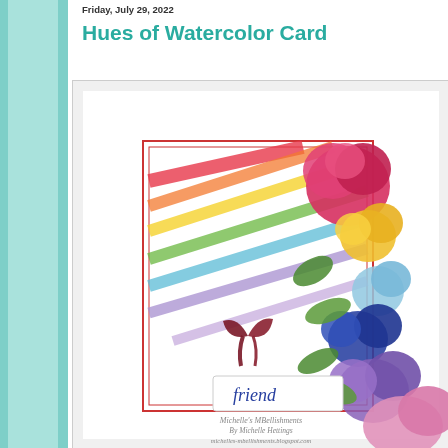Friday, July 29, 2022
Hues of Watercolor Card
[Figure (photo): A handmade greeting card featuring watercolor rainbow diagonal stripes in red, orange, yellow, green, blue, and purple, decorated with colorful stamped flowers (pink, yellow, light blue, navy, purple, pink) and green leaves. A white banner tag with 'friend' written in script sits in the lower center, tied with a dark red ribbon. Watermark text reads 'Michelle's MBellishments By Michelle Hettings michelles-mbellishments.blogspot.com' at the bottom.]